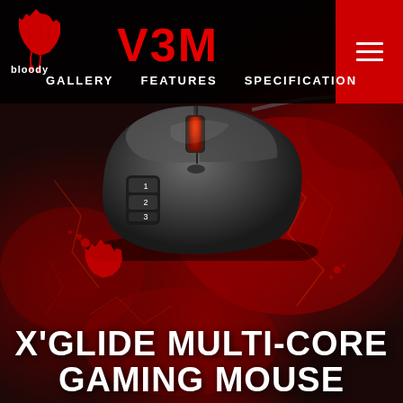[Figure (photo): Bloody gaming mouse V3M product page screenshot showing a black gaming mouse on a dark red cracked stone background, with navigation menu links GALLERY, FEATURES, SPECIFICATION, a red menu hamburger button in the top right, the Bloody logo in the top left, and the text X'GLIDE MULTI-CORE GAMING MOUSE at the bottom]
V3M
GALLERY   FEATURES   SPECIFICATION
X'GLIDE MULTI-CORE GAMING MOUSE